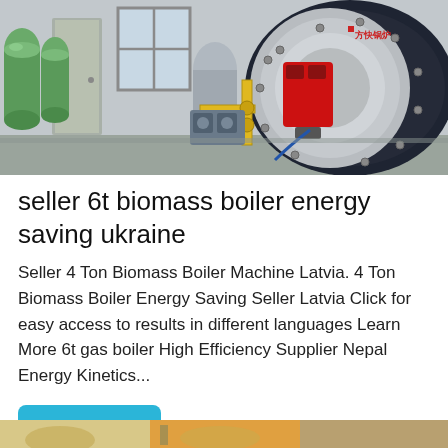[Figure (photo): Industrial boiler room with a large dark cylindrical gas boiler (with Chinese brand text), red burner attachment, yellow piping, pump system, and green water softener cylinders on the left, set in a concrete room with windows.]
seller 6t biomass boiler energy saving ukraine
Seller 4 Ton Biomass Boiler Machine Latvia. 4 Ton Biomass Boiler Energy Saving Seller Latvia Click for easy access to results in different languages Learn More 6t gas boiler High Efficiency Supplier Nepal Energy Kinetics...
Get Price
[Figure (photo): Bottom strip showing partial view of another industrial boiler or equipment image.]